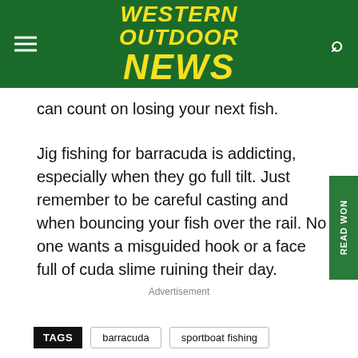WESTERN OUTDOOR NEWS
can count on losing your next fish.
Jig fishing for barracuda is addicting, especially when they go full tilt. Just remember to be careful casting and when bouncing your fish over the rail. No one wants a misguided hook or a face full of cuda slime ruining their day.
Advertisement
TAGS  barracuda  sportboat fishing